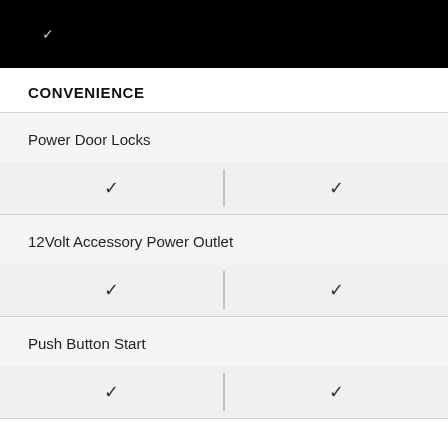CONVENIENCE
| Feature | Col1 | Col2 |
| --- | --- | --- |
| Power Door Locks | ✓ | ✓ |
| 12Volt Accessory Power Outlet | ✓ | ✓ |
| Push Button Start | ✓ | ✓ |